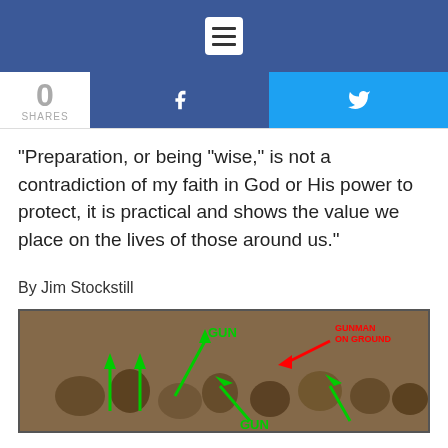Navigation menu header with hamburger icon
[Figure (screenshot): Social share bar with 0 shares count, Facebook share button, and Twitter share button]
“Preparation, or being “wise,” is not a contradiction of my faith in God or His power to protect, it is practical and shows the value we place on the lives of those around us.”
By Jim Stockstill
[Figure (photo): Photo of a crowd of people in what appears to be a mosque or gathering hall, with green arrows pointing to items labeled GUN and a red arrow pointing to text labeled GUNMAN ON GROUND]